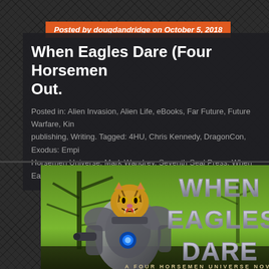Posted by dougdandridge on October 5, 2018
When Eagles Dare (Four Horsemen Universe) is Out.
Posted in: Alien Invasion, Alien Life, eBooks, Far Future, Future Warfare, Kin... publishing, Writing. Tagged: 4HU, Chris Kennedy, DragonCon, Exodus: Empi... Horsemen Universe, Mark Wandrey, Seventh Seal Press, When Eagles Dare,...
[Figure (illustration): Book cover for 'When Eagles Dare: A Four Horsemen Universe Novel' showing a robotic mech suit with a tiger head, set against a green forest background with large silver metallic lettering.]